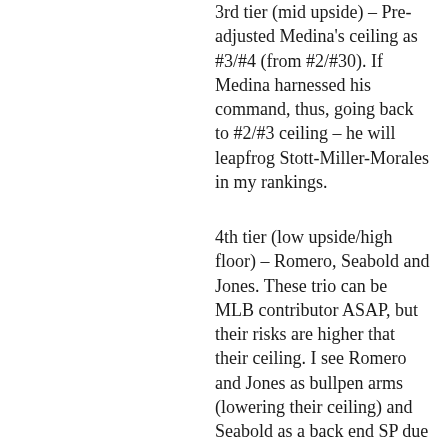3rd tier (mid upside) – Pre-adjusted Medina's ceiling as #3/#4 (from #2/#30). If Medina harnessed his command, thus, going back to #2/#3 ceiling – he will leapfrog Stott-Miller-Morales in my rankings.
4th tier (low upside/high floor) – Romero, Seabold and Jones. These trio can be MLB contributor ASAP, but their risks are higher that their ceiling. I see Romero and Jones as bullpen arms (lowering their ceiling) and Seabold as a back end SP due to his average-ish (as of now) stuff.